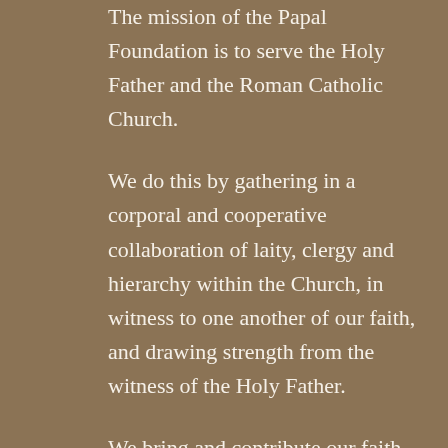The mission of the Papal Foundation is to serve the Holy Father and the Roman Catholic Church.
We do this by gathering in a corporal and cooperative collaboration of laity, clergy and hierarchy within the Church, in witness to one another of our faith, and drawing strength from the witness of the Holy Father.
We bring and contribute our faith, our energy and our financial resources, to serve those needs of the Church that are of particular significance to the Holy Father, always with a commitment